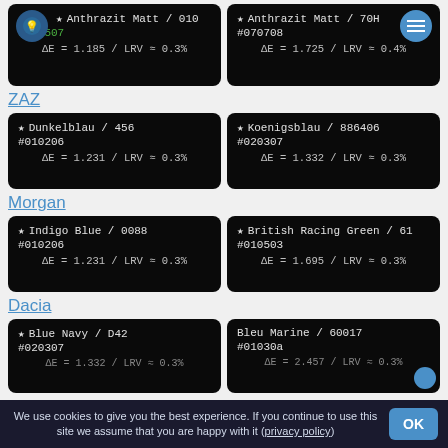[Figure (infographic): Two dark color swatches: Anthrazit Matt / 010 (#04b507 shown with bulb icon, ΔE=1.185/LRV≈0.3%) and Anthrazit Matt / 70H (#070708, ΔE=1.725/LRV≈0.4%)]
ZAZ
[Figure (infographic): Two dark color swatches: Dunkelblau / 456 (#010206, ΔE=1.231/LRV≈0.3%) and Koenigsblau / 886406 (#020307, ΔE=1.332/LRV≈0.3%)]
Morgan
[Figure (infographic): Two dark color swatches: Indigo Blue / 0088 (#010206, ΔE=1.231/LRV≈0.3%) and British Racing Green / 61 (#010503, ΔE=1.695/LRV≈0.3%)]
Dacia
[Figure (infographic): Two dark color swatches (partially visible): Blue Navy / D42 (#020307, ΔE=1.332/LRV≈0.3%) and Bleu Marine / 60017 (#01030a, ΔE=2.457/LRV≈0.3%)]
We use cookies to give you the best experience. If you continue to use this site we assume that you are happy with it (privacy policy)